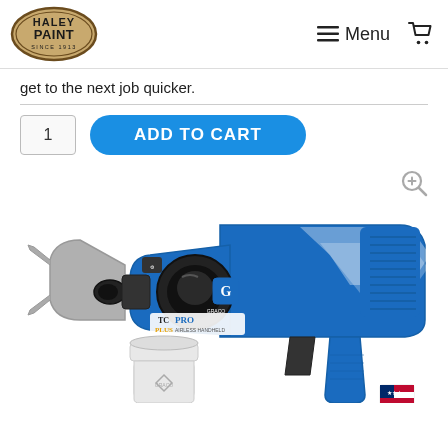Haley Paint Since 1913 — Menu [navigation]
get to the next job quicker.
1  ADD TO CART
[Figure (photo): Graco TC Pro Plus Airless Handheld paint sprayer in blue and white, shown with spray tip guard attached, sitting on a white cup/container base. Product label reads 'TC PRO PLUS AIRLESS HANDHELD'. A Graco diamond logo is visible on the cup. A US flag sticker is on the lower right of the gun body.]